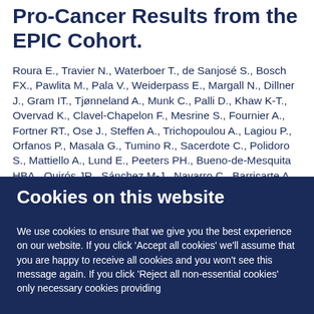Pro-Cancer Results from the EPIC Cohort.
Roura E., Travier N., Waterboer T., de Sanjosé S., Bosch FX., Pawlita M., Pala V., Weiderpass E., Margall N., Dillner J., Gram IT., Tjønneland A., Munk C., Palli D., Khaw K-T., Overvad K., Clavel-Chapelon F., Mesrine S., Fournier A., Fortner RT., Ose J., Steffen A., Trichopoulou A., Lagiou P., Orfanos P., Masala G., Tumino R., Sacerdote C., Polidoro S., Mattiello A., Lund E., Peeters PH., Bueno-de-Mesquita HBA., Quirós JR., Sánchez M-J., Navarro C., Barricarte A., Larrañaga N., Ekström J., Lindquist D., Idahl A., Travis
Cookies on this website
We use cookies to ensure that we give you the best experience on our website. If you click 'Accept all cookies' we'll assume that you are happy to receive all cookies and you won't see this message again. If you click 'Reject all non-essential cookies' only necessary cookies providing